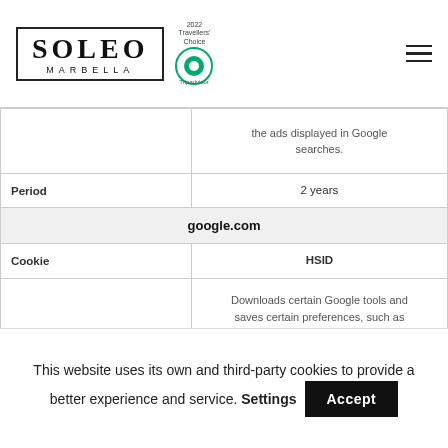SOLEO MARBELLA — Travellers' Choice Tripadvisor logo and hamburger menu
|  | the ads displayed in Google searches. |
| Period | 2 years |
| google.com |  |
| Cookie | HSID |
| Purpose | Downloads certain Google tools and saves certain preferences, such as the number of search results per page and whether the SafeSearch filter has been activated. Adjusts the ads displayed in Google searches. |
This website uses its own and third-party cookies to provide a better experience and service. Settings  Accept